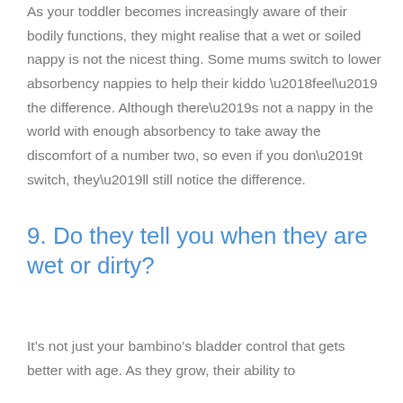As your toddler becomes increasingly aware of their bodily functions, they might realise that a wet or soiled nappy is not the nicest thing. Some mums switch to lower absorbency nappies to help their kiddo ‘feel’ the difference. Although there’s not a nappy in the world with enough absorbency to take away the discomfort of a number two, so even if you don’t switch, they’ll still notice the difference.
9. Do they tell you when they are wet or dirty?
It’s not just your bambino’s bladder control that gets better with age. As they grow, their ability to